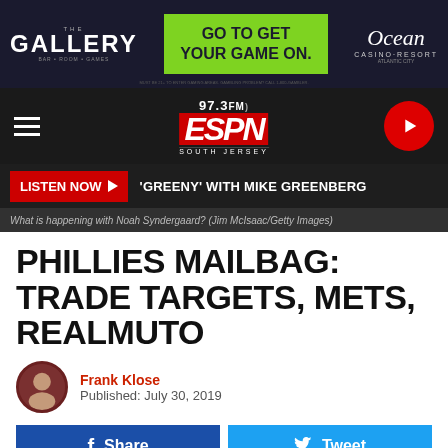[Figure (screenshot): The Gallery bar/entertainment venue advertisement banner with Ocean Casino Resort branding and 'Go To Get Your Game On.' CTA]
[Figure (logo): 97.3 FM ESPN South Jersey radio station logo in red and white on dark background with hamburger menu and play button]
LISTEN NOW ▶  'GREENY' WITH MIKE GREENBERG
What is happening with Noah Syndergaard? (Jim McIsaac/Getty Images)
PHILLIES MAILBAG: TRADE TARGETS, METS, REALMUTO
Frank Klose
Published: July 30, 2019
Share
Tweet
We...
[Figure (screenshot): The Gallery bar/entertainment venue advertisement banner with Ocean Casino Resort branding and 'Go To Get Your Game On.' CTA (bottom)]